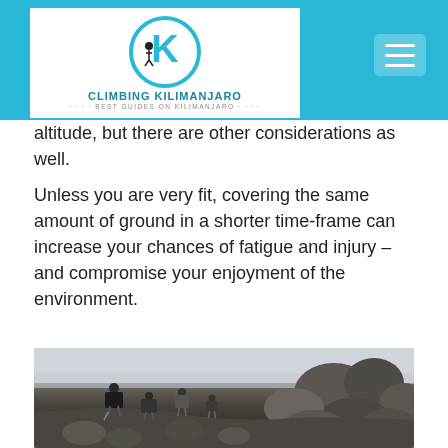[Figure (logo): Climbing Kilimanjaro logo with circular K emblem and text 'CLIMBING KILIMANJARO - BEST GUIDES ON KILIMANJARO']
altitude, but there are other considerations as well.
Unless you are very fit, covering the same amount of ground in a shorter time-frame can increase your chances of fatigue and injury – and compromise your enjoyment of the environment.
[Figure (photo): Hikers with backpacks trekking through rocky volcanic terrain on Kilimanjaro, with large dark boulders and misty sky in the background.]